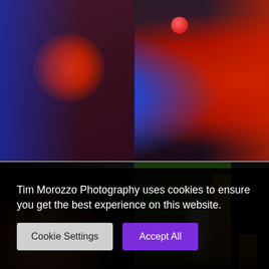[Figure (photo): Close-up photo of a person's torso wearing a dark maroon/purple jacket with a red circular pin/badge, against a blue and red background]
[Figure (photo): Two side-by-side dark photographs: left shows a person standing in a dark room, right shows a figure standing in front of a forest projection backdrop with an orange curtain]
Tim Morozzo Photography uses cookies to ensure you get the best experience on this website.
Cookie Settings
Accept All